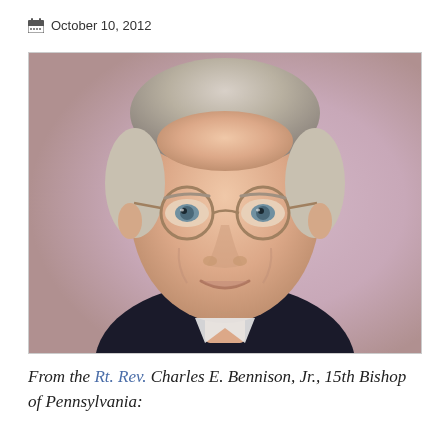October 10, 2012
[Figure (photo): Headshot portrait of an older man with gray hair, round-frame glasses, wearing a dark suit jacket, smiling, against a soft blurred background.]
From the Rt. Rev. Charles E. Bennison, Jr., 15th Bishop of Pennsylvania: